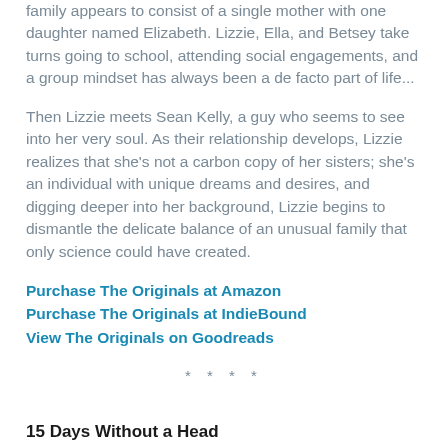family appears to consist of a single mother with one daughter named Elizabeth. Lizzie, Ella, and Betsey take turns going to school, attending social engagements, and a group mindset has always been a de facto part of life...
Then Lizzie meets Sean Kelly, a guy who seems to see into her very soul. As their relationship develops, Lizzie realizes that she's not a carbon copy of her sisters; she's an individual with unique dreams and desires, and digging deeper into her background, Lizzie begins to dismantle the delicate balance of an unusual family that only science could have created.
Purchase The Originals at Amazon
Purchase The Originals at IndieBound
View The Originals on Goodreads
* * * *
15 Days Without a Head